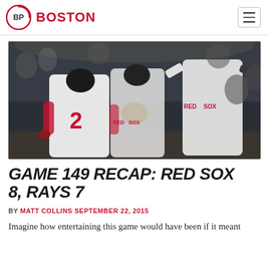BP BOSTON
[Figure (photo): Three Boston Red Sox players celebrating on the field at night, two wearing Red Sox uniforms with numbers visible including #2, fans cheering in background]
GAME 149 RECAP: RED SOX 8, RAYS 7
BY MATT COLLINS  SEPTEMBER 22, 2015
Imagine how entertaining this game would have been if it meant something.